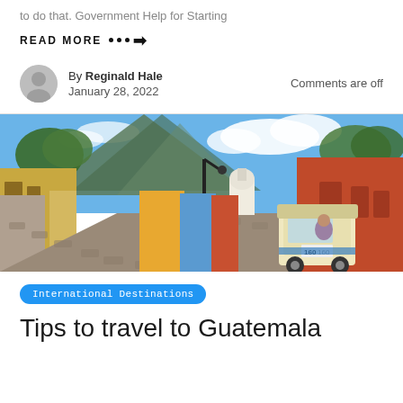to do that. Government Help for Starting
READ MORE ••• →
By Reginald Hale
January 28, 2022
Comments are off
[Figure (photo): Street scene in Antigua Guatemala with colorful colonial buildings, cobblestone road, a tuk-tuk vehicle, a street lamp, trees, and a volcano in the background under a blue sky]
International Destinations
Tips to travel to Guatemala